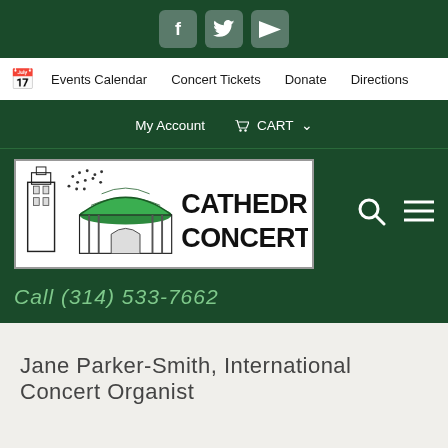[Figure (screenshot): Social media icons bar: Facebook (f), Twitter (bird), YouTube (play button) on dark green background]
Events Calendar  Concert Tickets  Donate  Directions
My Account  CART
[Figure (logo): Cathedral Concerts logo with cathedral building illustration and green dome, black bold text reading CATHEDRAL CONCERTS]
Call (314) 533-7662
Jane Parker-Smith, International Concert Organist